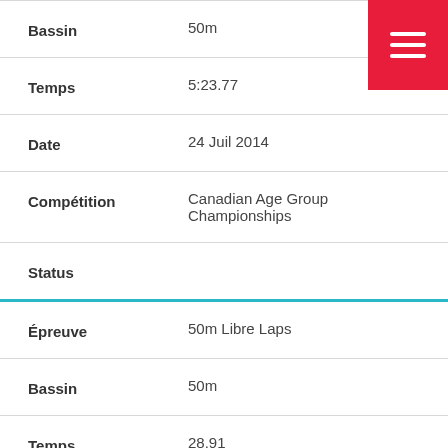| Bassin | 50m |
| Temps | 5:23.77 |
| Date | 24 Juil 2014 |
| Compétition | Canadian Age Group Championships |
| Status |  |
| Épreuve | 50m Libre Laps |
| Bassin | 50m |
| Temps | 28.91 |
| Date | 8 Avril 2014 |